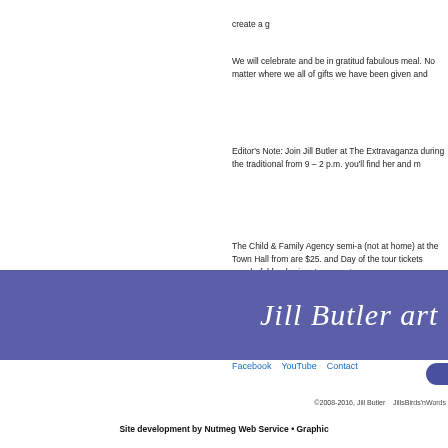create a g
We will celebrate and be in gratitud fabulous meal. No matter where we all of gifts we have been given and
Editor's Note: Join Jill Butler at The Extravaganza during the traditional from 9 – 2 p.m. you'll find her and m
The Child & Family Agency semi-a (not at home) at the Town Hall from are $25. and Day of the tour tickets wonderful fund-raiser to support an
Facebook    YouTube    Contact
[Figure (logo): Jill Butler art & design signature logo in white cursive text on purple/indigo banner background]
©2008-2016, Jill Butler   JillsBirds'nWords
Site development by Nutmeg Web Service • Graphic